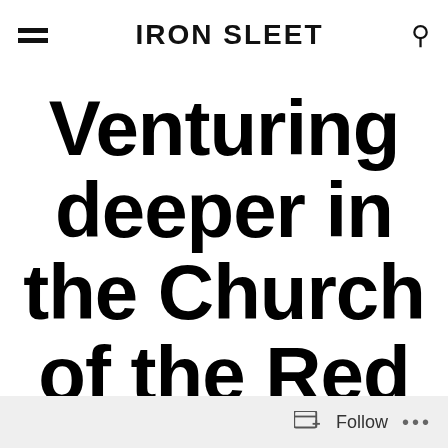IRON SLEET
Venturing deeper in the Church of the Red
Follow ...